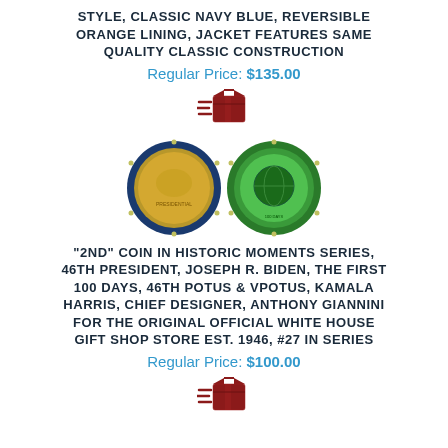STYLE, CLASSIC NAVY BLUE, REVERSIBLE ORANGE LINING, JACKET FEATURES SAME QUALITY CLASSIC CONSTRUCTION
Regular Price: $135.00
[Figure (illustration): Shipping box icon with speed lines]
[Figure (photo): Two commemorative coins side by side — left coin has blue border with gold center design, right coin has green circular design with blue border]
"2ND" COIN IN HISTORIC MOMENTS SERIES, 46TH PRESIDENT, JOSEPH R. BIDEN, THE FIRST 100 DAYS, 46TH POTUS & VPOTUS, KAMALA HARRIS, CHIEF DESIGNER, ANTHONY GIANNINI FOR THE ORIGINAL OFFICIAL WHITE HOUSE GIFT SHOP STORE EST. 1946, #27 IN SERIES
Regular Price: $100.00
[Figure (illustration): Shipping box icon with speed lines]